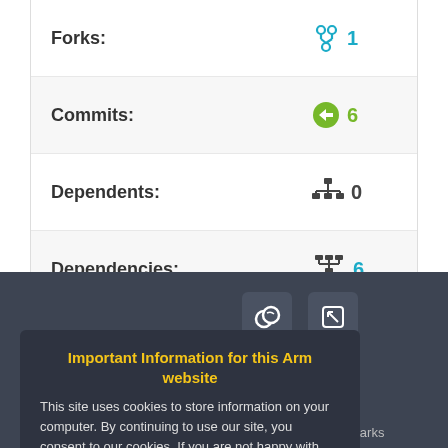| Forks: | 1 |
| Commits: | 6 |
| Dependents: | 0 |
| Dependencies: | 6 |
| Followers: | 6 |
Important Information for this Arm website
This site uses cookies to store information on your computer. By continuing to use our site, you consent to our cookies. If you are not happy with the use of these cookies, please review our Cookie Policy to learn how they can be disabled. By disabling cookies, some features of the site will not work.
Accept and hide this message
Copyright © 2022 Arm Limited (or its affiliates). Home | Website Terms | Privacy | Cookies | Trademarks